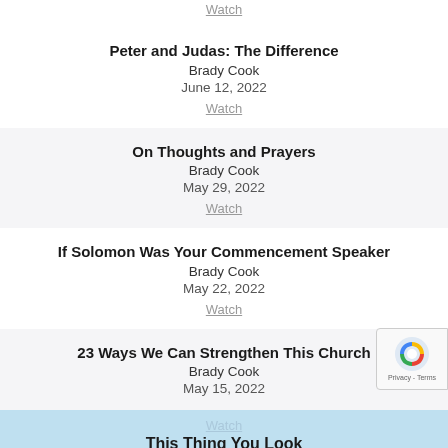Watch
Peter and Judas: The Difference
Brady Cook
June 12, 2022
Watch
On Thoughts and Prayers
Brady Cook
May 29, 2022
Watch
If Solomon Was Your Commencement Speaker
Brady Cook
May 22, 2022
Watch
23 Ways We Can Strengthen This Church
Brady Cook
May 15, 2022
Watch
This Thing You Look